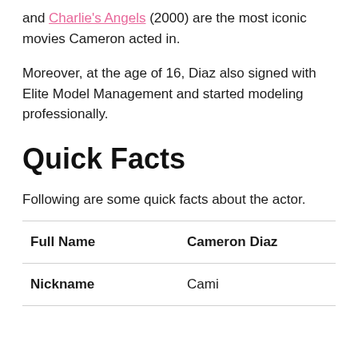and Charlie's Angels (2000) are the most iconic movies Cameron acted in.
Moreover, at the age of 16, Diaz also signed with Elite Model Management and started modeling professionally.
Quick Facts
Following are some quick facts about the actor.
| Full Name | Cameron Diaz |
| Nickname | Cami |